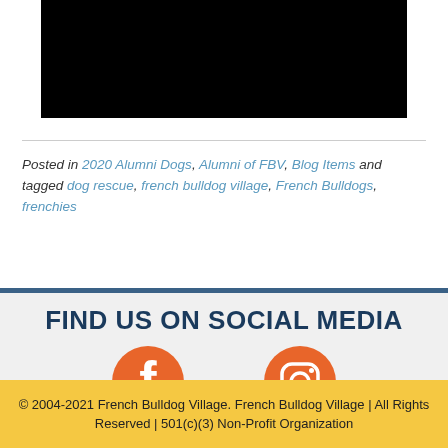[Figure (photo): Black rectangular image placeholder at top of page]
Posted in 2020 Alumni Dogs, Alumni of FBV, Blog Items and tagged dog rescue, french bulldog village, French Bulldogs, frenchies
FIND US ON SOCIAL MEDIA
[Figure (other): Facebook and Instagram social media icons in orange/coral color]
© 2004-2021 French Bulldog Village. French Bulldog Village | All Rights Reserved | 501(c)(3) Non-Profit Organization